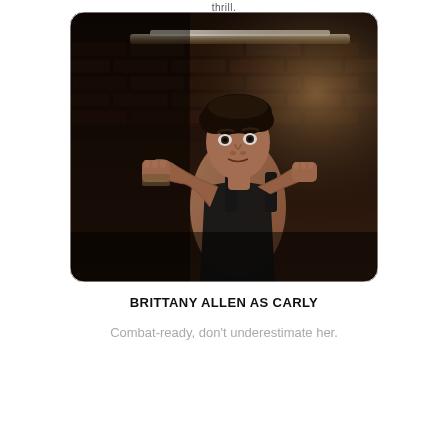thrill.
[Figure (photo): A woman with short dark hair in a fighting stance, fists raised, wearing a dark tank top. She stands in front of a brick wall with dramatic lighting. Expression is intense and alert.]
BRITTANY ALLEN AS CARLY
Combat-ready, don't underestimate her.